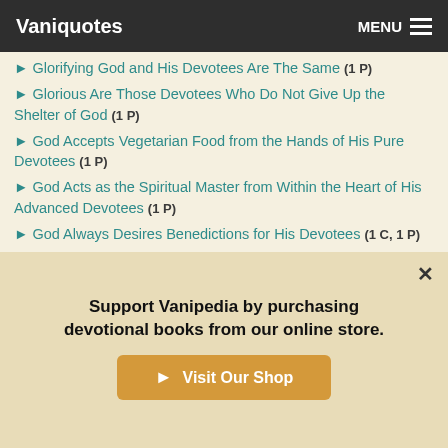Vaniquotes | MENU
► Glorifying God and His Devotees Are The Same (1 P)
► Glorious Are Those Devotees Who Do Not Give Up the Shelter of God (1 P)
► God Accepts Vegetarian Food from the Hands of His Pure Devotees (1 P)
► God Acts as the Spiritual Master from Within the Heart of His Advanced Devotees (1 P)
► God Always Desires Benedictions for His Devotees (1 C, 1 P)
► God Always Desires to Fulfill the Ambitions of His Devotees (1 P)
Support Vanipedia by purchasing devotional books from our online store.
Visit Our Shop